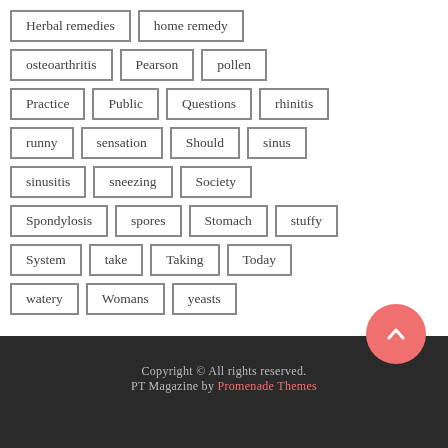Herbal remedies
home remedy
osteoarthritis
Pearson
pollen
Practice
Public
Questions
rhinitis
runny
sensation
Should
sinus
sinusitis
sneezing
Society
Spondylosis
spores
Stomach
stuffy
System
take
Taking
Today
watery
Womans
yeasts
Copyright © All rights reserved. PT Magazine by Promenade Themes